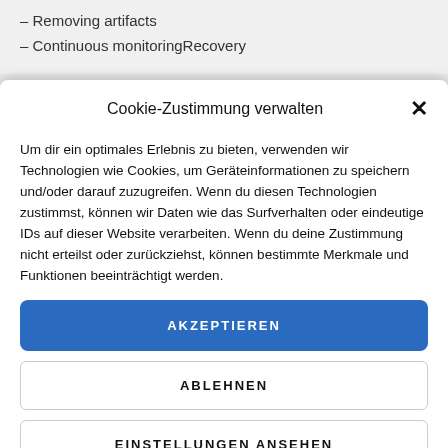– Removing artifacts
– Continuous monitoringRecovery
Cookie-Zustimmung verwalten
Um dir ein optimales Erlebnis zu bieten, verwenden wir Technologien wie Cookies, um Geräteinformationen zu speichern und/oder darauf zuzugreifen. Wenn du diesen Technologien zustimmst, können wir Daten wie das Surfverhalten oder eindeutige IDs auf dieser Website verarbeiten. Wenn du deine Zustimmung nicht erteilst oder zurückziehst, können bestimmte Merkmale und Funktionen beeinträchtigt werden.
AKZEPTIEREN
ABLEHNEN
EINSTELLUNGEN ANSEHEN
Cookie-Richtlinie  Datenschutz  Impressum